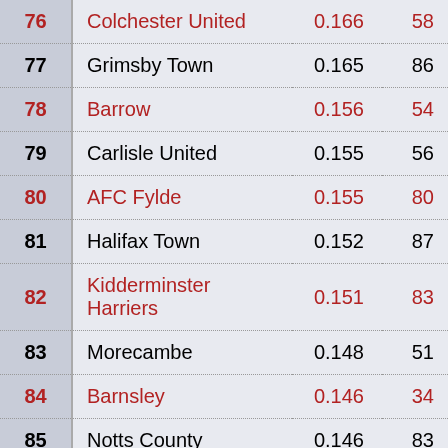| Rank | Club | Score | Num |
| --- | --- | --- | --- |
| 76 | Colchester United | 0.166 | 58 |
| 77 | Grimsby Town | 0.165 | 86 |
| 78 | Barrow | 0.156 | 54 |
| 79 | Carlisle United | 0.155 | 56 |
| 80 | AFC Fylde | 0.155 | 80 |
| 81 | Halifax Town | 0.152 | 87 |
| 82 | Kidderminster Harriers | 0.151 | 83 |
| 83 | Morecambe | 0.148 | 51 |
| 84 | Barnsley | 0.146 | 34 |
| 85 | Notts County | 0.146 | 83 |
| 86 | Charlton Athletic | 0.146 | 65 |
| 87 | Accrington Stanley | 0.144 | 65 |
| 88 | Newport County | 0.143 | 72 |
| 89 | Chesterfield | 0.141 | 83 |
| 90 | Salford City | 0.141 | 74 |